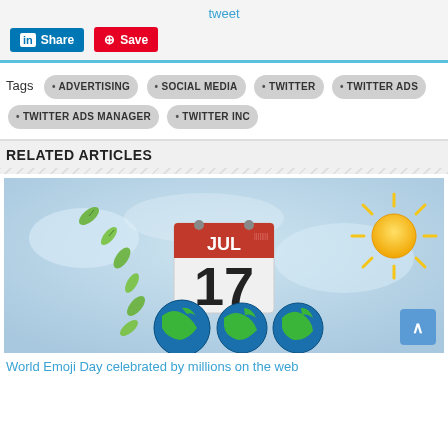tweet
[Figure (screenshot): LinkedIn Share button (blue) and Pinterest Save button (red)]
Tags  ADVERTISING  SOCIAL MEDIA  TWITTER  TWITTER ADS  TWITTER ADS MANAGER  TWITTER INC
RELATED ARTICLES
[Figure (photo): Illustration with blue sky background, green leaves falling, a calendar showing JUL 17, a sun emoji, and three globe emojis at the bottom]
World Emoji Day celebrated by millions on the web